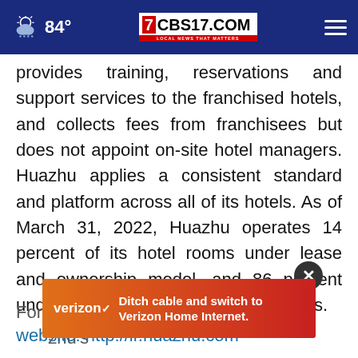84° CBS17.COM LOCAL NEWS THAT MATTERS
provides training, reservations and support services to the franchised hotels, and collects fees from franchisees but does not appoint on-site hotel managers. Huazhu applies a consistent standard and platform across all of its hotels. As of March 31, 2022, Huazhu operates 14 percent of its hotel rooms under lease and ownership model, and 86 percent under manachise and franchise models.
For [more information, please visit Huazhu's website: http://ir.huazhu.com